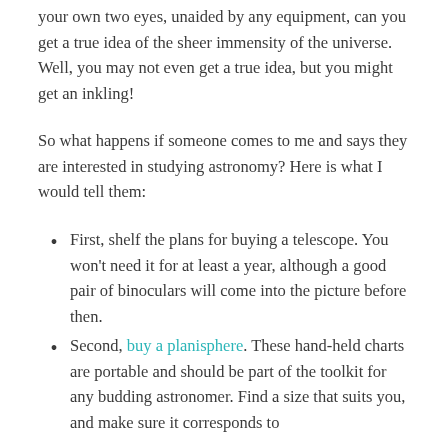your own two eyes, unaided by any equipment, can you get a true idea of the sheer immensity of the universe. Well, you may not even get a true idea, but you might get an inkling!
So what happens if someone comes to me and says they are interested in studying astronomy? Here is what I would tell them:
First, shelf the plans for buying a telescope. You won't need it for at least a year, although a good pair of binoculars will come into the picture before then.
Second, buy a planisphere. These hand-held charts are portable and should be part of the toolkit for any budding astronomer. Find a size that suits you, and make sure it corresponds to